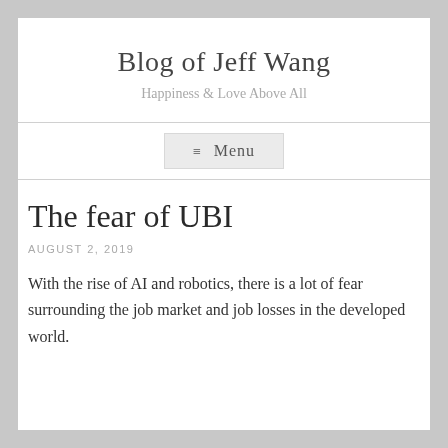Blog of Jeff Wang
Happiness & Love Above All
≡ Menu
The fear of UBI
AUGUST 2, 2019
With the rise of AI and robotics, there is a lot of fear surrounding the job market and job losses in the developed world.